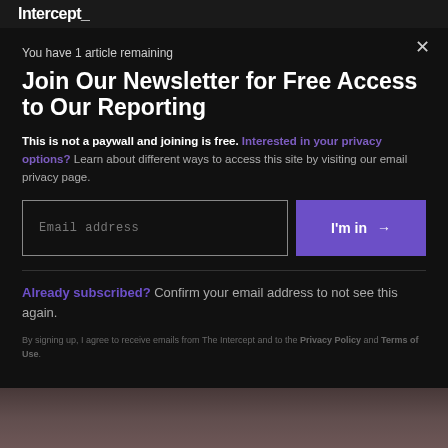Intercept_
You have 1 article remaining
Join Our Newsletter for Free Access to Our Reporting
This is not a paywall and joining is free. Interested in your privacy options? Learn about different ways to access this site by visiting our email privacy page.
Email address
I'm in →
Already subscribed? Confirm your email address to not see this again.
By signing up, I agree to receive emails from The Intercept and to the Privacy Policy and Terms of Use.
[Figure (photo): Bottom strip showing a partial image, appearing to be a crowd or people scene with dark reddish-brown tones]